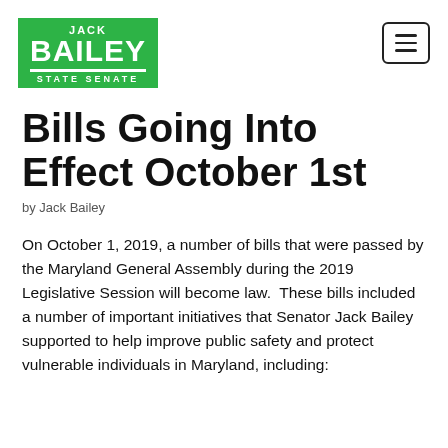[Figure (logo): Jack Bailey State Senate logo — green rectangle with white text reading JACK / BAILEY / STATE SENATE]
Bills Going Into Effect October 1st
by Jack Bailey
On October 1, 2019, a number of bills that were passed by the Maryland General Assembly during the 2019 Legislative Session will become law.  These bills included a number of important initiatives that Senator Jack Bailey supported to help improve public safety and protect vulnerable individuals in Maryland, including: